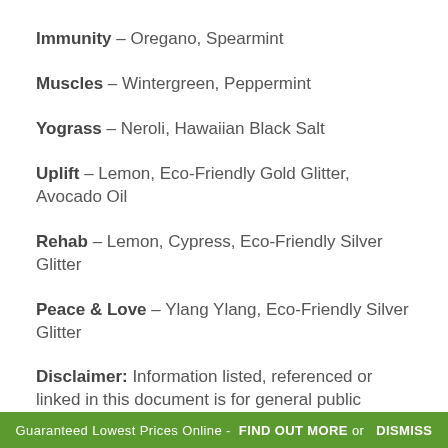Immunity – Oregano, Spearmint
Muscles – Wintergreen, Peppermint
Yograss – Neroli, Hawaiian Black Salt
Uplift – Lemon, Eco-Friendly Gold Glitter, Avocado Oil
Rehab – Lemon, Cypress, Eco-Friendly Silver Glitter
Peace & Love – Ylang Ylang, Eco-Friendly Silver Glitter
Disclaimer: Information listed, referenced or linked in this document is for general public education only and does not
Guaranteed Lowest Prices Online -  FIND OUT MORE or  DISMISS